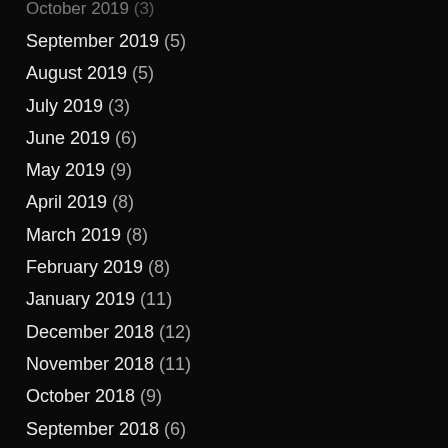October 2019 (3)
September 2019 (5)
August 2019 (5)
July 2019 (3)
June 2019 (6)
May 2019 (9)
April 2019 (8)
March 2019 (8)
February 2019 (8)
January 2019 (11)
December 2018 (12)
November 2018 (11)
October 2018 (9)
September 2018 (6)
August 2018 (8)
July 2018 (9)